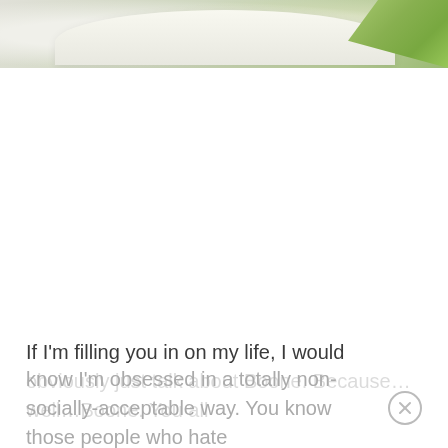[Figure (photo): Partial photo of a white bowl and green leaves/plant in the upper portion of the page, cropped at top]
If I'm filling you in on my life, I would obviously just talk about Boone. Because…well…Boone. You all know I'm obsessed in a totally non-socially-acceptable way. You know those people who hate